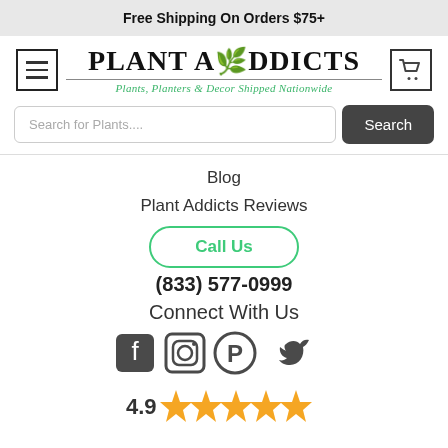Free Shipping On Orders $75+
[Figure (logo): Plant Addicts logo with menu button and cart icon. Logo reads PLANT ADDICTS with leaf icon and tagline Plants, Planters & Decor Shipped Nationwide]
Search for Plants....
Blog
Plant Addicts Reviews
Call Us
(833) 577-0999
Connect With Us
[Figure (illustration): Social media icons: Facebook, Instagram, Pinterest, Twitter]
[Figure (illustration): Rating stars - gold stars partially visible at bottom]